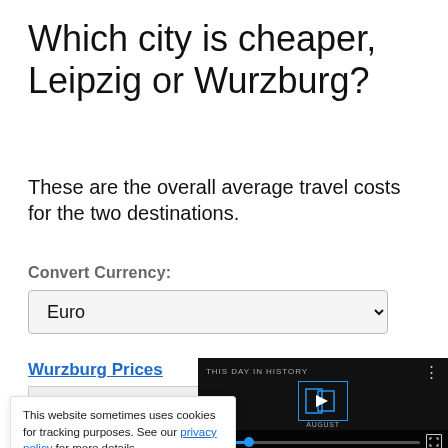Which city is cheaper, Leipzig or Wurzburg?
These are the overall average travel costs for the two destinations.
Convert Currency:
Euro
Wurzburg Prices
Leipzig Prices
[Figure (screenshot): Partially visible video player overlay showing 'THIS DAY IN HISTORY' with a play button, blue logo frame, mute icon, progress bar, and fullscreen button on dark background. Month label 'AUGUST' visible.]
This website sometimes uses cookies for tracking purposes. See our privacy policy for more details.